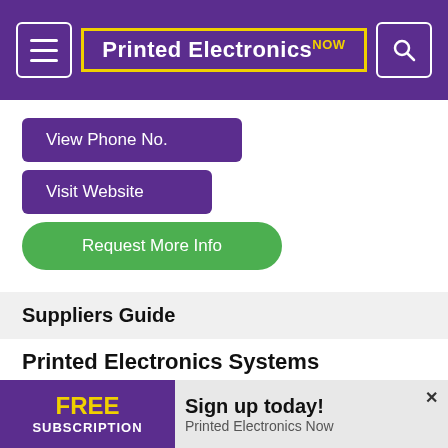Printed Electronics NOW
View Phone No.
Visit Website
Request More Info
Suppliers Guide
Printed Electronics Systems
Labels, Food
RFID, Food
RFID, Tags and Labels
FREE SUBSCRIPTION  Sign up today! Printed Electronics Now